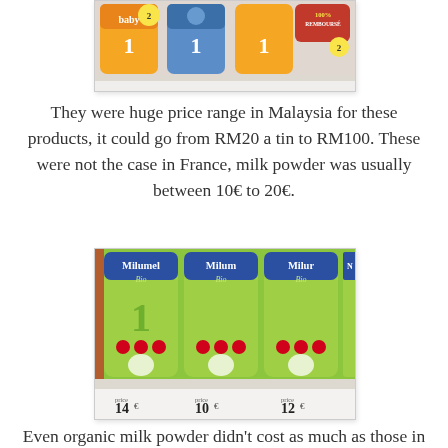[Figure (photo): Top portion of a shelf with baby formula tins from Malaysian supermarket, partially cropped at top.]
They were huge price range in Malaysia for these products, it could go from RM20 a tin to RM100. These were not the case in France, milk powder was usually between 10€ to 20€.
[Figure (photo): Shelf display of Milumel Bio baby formula tins (green packaging) with price tags showing 14, 10, and 12 euros.]
Even organic milk powder didn't cost as much as those in Malaysia.
[Figure (photo): Partial view of shelf with Gallia brand baby formula tins, blue packaging.]